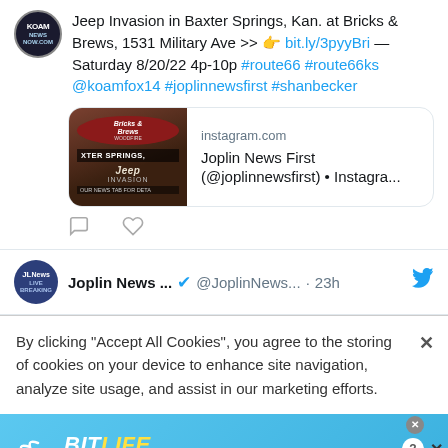Jeep Invasion in Baxter Springs, Kan. at Bricks & Brews, 1531 Military Ave >> 👉 bit.ly/3pyyBri — Saturday 8/20/22 4p-10p #route66 #route66ks @koamfox14 #joplinnewsfirst #shanbecker
[Figure (screenshot): Instagram link preview card showing Bricks & Brews Woodfire restaurant image with text 'XTERS SPRINGS, Jeep INVASION, OUR NEWS TAB FOR DETAIL' and link info: instagram.com, Joplin News First (@joplinnewsfirst) • Instagra...]
Joplin News ... @JoplinNews... · 23h
By clicking "Accept All Cookies", you agree to the storing of cookies on your device to enhance site navigation, analyze site usage, and assist in our marketing efforts.
[Figure (screenshot): Advertisement banner for BitLife game - 'NOW WITH GOD MODE' on blue background with hand pointing graphic]